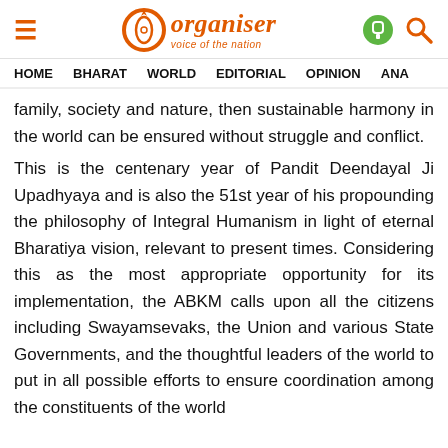Organiser — voice of the nation
HOME   BHARAT   WORLD   EDITORIAL   OPINION   ANA
family, society and nature, then sustainable harmony in the world can be ensured without struggle and conflict.
This is the centenary year of Pandit Deendayal Ji Upadhyaya and is also the 51st year of his propounding the philosophy of Integral Humanism in light of eternal Bharatiya vision, relevant to present times. Considering this as the most appropriate opportunity for its implementation, the ABKM calls upon all the citizens including Swayamsevaks, the Union and various State Governments, and the thoughtful leaders of the world to put in all possible efforts to ensure coordination among the constituents of the world.